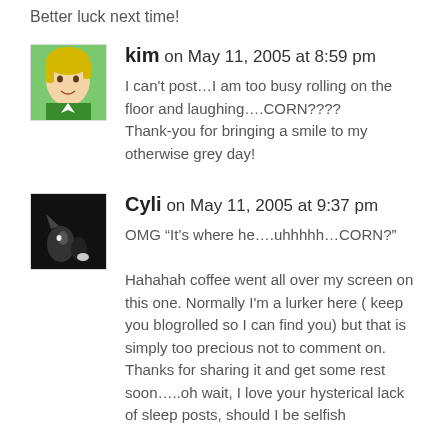Better luck next time!
kim on May 11, 2005 at 8:59 pm
I can't post…I am too busy rolling on the floor and laughing….CORN????
Thank-you for bringing a smile to my otherwise grey day!
Cyli on May 11, 2005 at 9:37 pm
OMG “It's where he….uhhhhh…CORN?”
Hahahah coffee went all over my screen on this one. Normally I'm a lurker here ( keep you blogrolled so I can find you) but that is simply too precious not to comment on. Thanks for sharing it and get some rest soon…..oh wait, I love your hysterical lack of sleep posts, should I be selfish